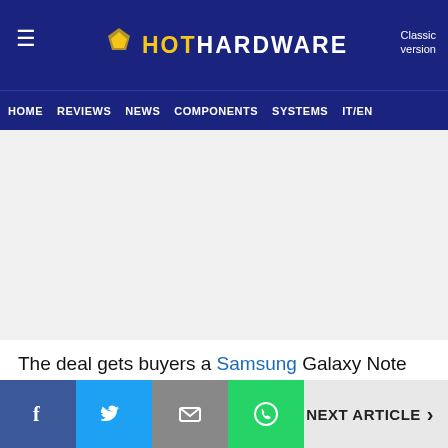HotHardware — Classic version | HOME | REVIEWS | NEWS | COMPONENTS | SYSTEMS | IT/EN
The deal gets buyers a Samsung Galaxy Note 10+ with 256GB of storage in unlocked condition for $699.99, which is $400 off the regular price of $1,099.99. These smartphones are all brand-new and unopened; not returns or refurbished devices.
NEXT ARTICLE >